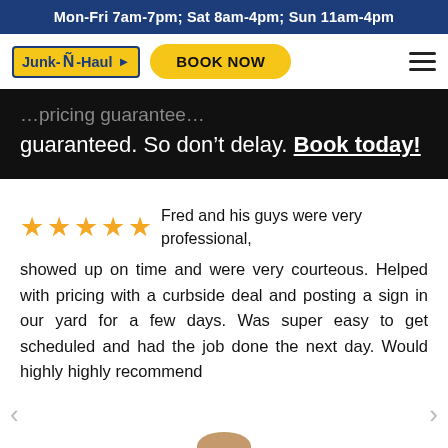Mon-Fri 7am-7pm; Sat 8am-4pm; Sun 11am-4pm
[Figure (logo): Junk-N-Haul logo with yellow background and blue text, Book Now button in yellow pill shape, hamburger menu icon]
guaranteed. So don't delay. Book today!
★★★★★ Fred and his guys were very professional, showed up on time and were very courteous. Helped with pricing with a curbside deal and posting a sign in our yard for a few days. Was super easy to get scheduled and had the job done the next day. Would highly highly recommend
(719) 259-5161